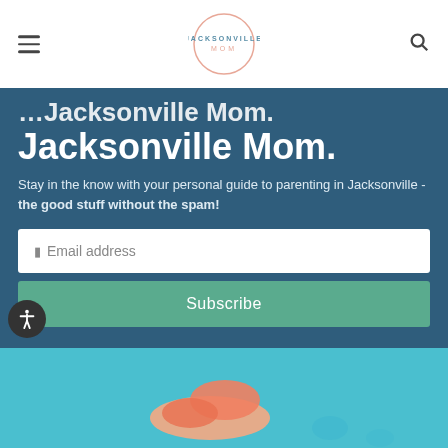Jacksonville Mom
Jacksonville Mom.
Stay in the know with your personal guide to parenting in Jacksonville - the good stuff without the spam!
[Figure (screenshot): Email address input field and Subscribe button on a teal/green background]
[Figure (illustration): Partial illustration visible at the bottom of the page on a light blue background, showing what appears to be a shoe or character]